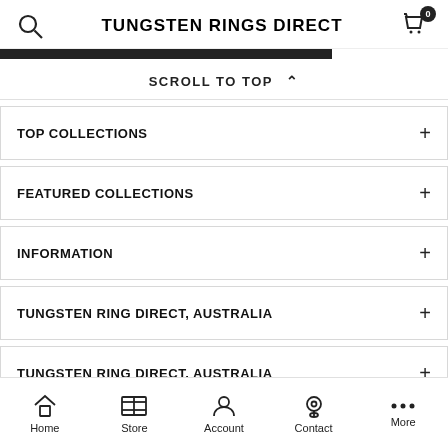TUNGSTEN RINGS DIRECT
SCROLL TO TOP
TOP COLLECTIONS
FEATURED COLLECTIONS
INFORMATION
TUNGSTEN RING DIRECT, AUSTRALIA
TUNGSTEN RING DIRECT, AUSTRALIA
Home  Store  Account  Contact  More